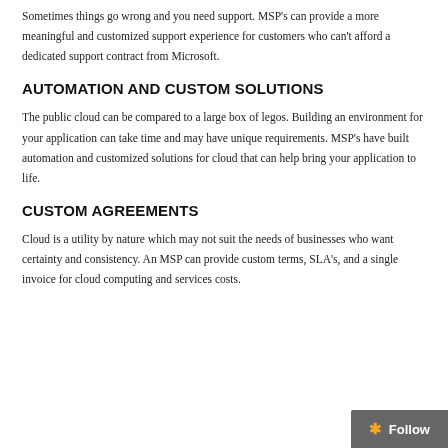Sometimes things go wrong and you need support. MSP's can provide a more meaningful and customized support experience for customers who can't afford a dedicated support contract from Microsoft.
AUTOMATION AND CUSTOM SOLUTIONS
The public cloud can be compared to a large box of legos. Building an environment for your application can take time and may have unique requirements. MSP's have built automation and customized solutions for cloud that can help bring your application to life.
CUSTOM AGREEMENTS
Cloud is a utility by nature which may not suit the needs of businesses who want certainty and consistency. An MSP can provide custom terms, SLA's, and a single invoice for cloud computing and services costs.